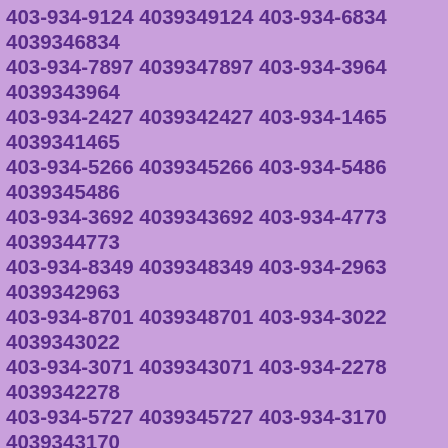403-934-9124 4039349124 403-934-6834 4039346834
403-934-7897 4039347897 403-934-3964 4039343964
403-934-2427 4039342427 403-934-1465 4039341465
403-934-5266 4039345266 403-934-5486 4039345486
403-934-3692 4039343692 403-934-4773 4039344773
403-934-8349 4039348349 403-934-2963 4039342963
403-934-8701 4039348701 403-934-3022 4039343022
403-934-3071 4039343071 403-934-2278 4039342278
403-934-5727 4039345727 403-934-3170 4039343170
403-934-0113 4039340113 403-934-6501 4039346501
403-934-5352 4039345352 403-934-9116 4039349116
403-934-6140 4039346140 403-934-0281 4039340281
403-934-9583 4039349583 403-934-4931 4039344931
403-934-0910 4039340910 403-934-3232 4039343232
403-934-4194 4039344194 403-934-5673 4039345673
403-934-1210 4039341210 403-934-8221 4039348221
403-934-9456 4039349456 403-934-2537 4039342537
403-934-1593 4039341593 403-934-5473 4039345473
403-934-0322 4039340322 403-934-7475 4039347475
403-934-5452 4039345452 403-934-5611 4039345611
403-934-9782 4039349782 403-934-1969 4039341969